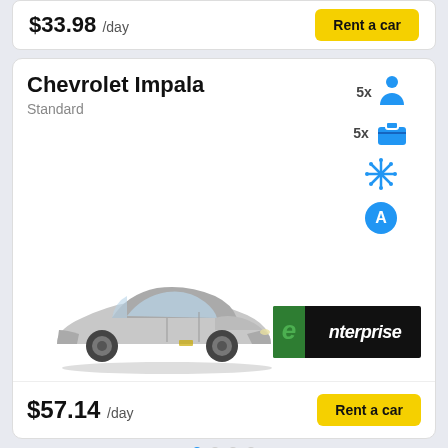$33.98 /day
Rent a car
Chevrolet Impala
Standard
[Figure (photo): Silver Chevrolet Impala sedan, angled front-left view]
[Figure (logo): Enterprise rent-a-car logo, green and black]
$57.14 /day
Rent a car
What are the best car rental...